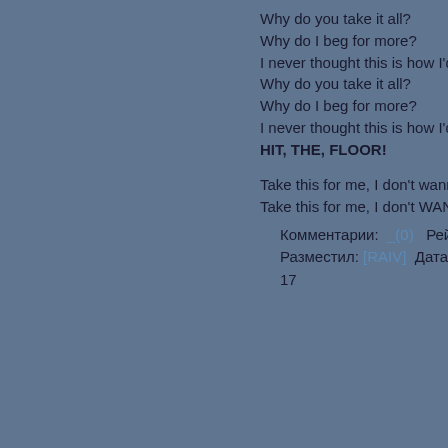Why do you take it all?
Why do I beg for more?
I never thought this is how I'd hit
Why do you take it all?
Why do I beg for more?
I never thought this is how I'd hit
HIT, THE, FLOOR!

Take this for me, I don't wanna h
Take this for me, I don't WANNA
Комментарии: _(0)  Рейтинг
Разместил: [RAIV]  Дата: 17